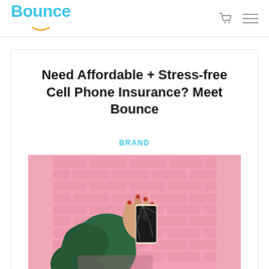Bounce
Need Affordable + Stress-free Cell Phone Insurance? Meet Bounce
BRAND
[Figure (photo): A hand wearing a green jacket sleeve holding up a cracked smartphone against a pink brick wall background]